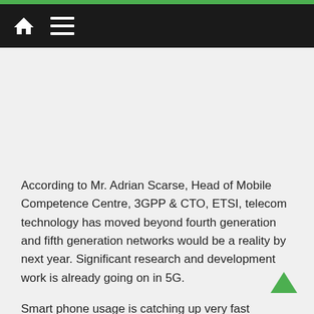Navigation bar with home icon and menu icon
According to Mr. Adrian Scarse, Head of Mobile Competence Centre, 3GPP & CTO, ETSI, telecom technology has moved beyond fourth generation and fifth generation networks would be a reality by next year. Significant research and development work is already going on in 5G.
Smart phone usage is catching up very fast particularly amongst the young Indian population. Mr. Shyam P. Mardikar, Chief-Strategy, Architecture